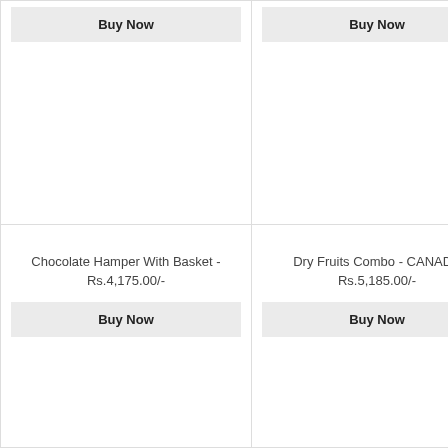Buy Now
Buy Now
Chocolate Hamper With Basket - Rs.4,175.00/-
Buy Now
Dry Fruits Combo - CANADA Rs.5,185.00/-
Buy Now